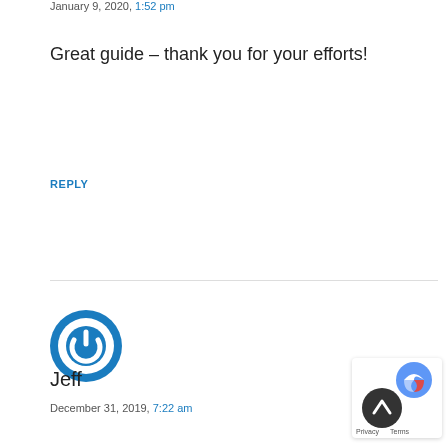January 9, 2020, 1:52 pm
Great guide – thank you for your efforts!
REPLY
[Figure (logo): Blue circular power button icon avatar for user Jeff]
Jeff
December 31, 2019, 7:22 am
Hi Yuyu! Wow, thank you so much for this excellent tutorial–all is working very well for me. Thanks!
REPLY
[Figure (other): Scroll-to-top button overlay with reCAPTCHA logo and Privacy/Terms text]